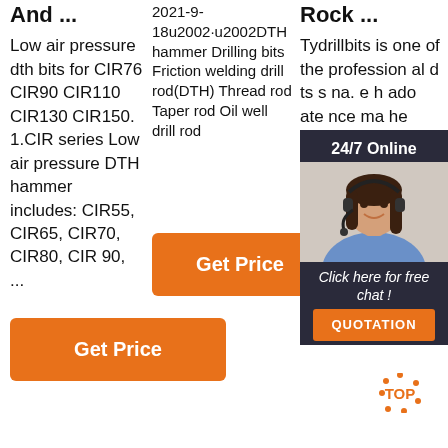And ...
2021-9-18u2002·u2002DTH hammer Drilling bits Friction welding drill rod(DTH) Thread rod Taper rod Oil well drill rod
Rock ...
Low air pressure dth bits for CIR76 CIR90 CIR110 CIR130 CIR150. 1.CIR series Low air pressure DTH hammer includes: CIR55, CIR65, CIR70, CIR80, CIR 90, ...
Tydrillbits is one of the professional d... ts s... na. e h... ado... ate... nce... ma... he past 4 years, our dth hammer bits and dth hammer have exported to many coun
[Figure (photo): Customer service representative (woman with headset) in chat widget overlay with '24/7 Online' header, 'Click here for free chat!' text, and QUOTATION button]
Get Price (button, column 2)
Get Price (button, column 1)